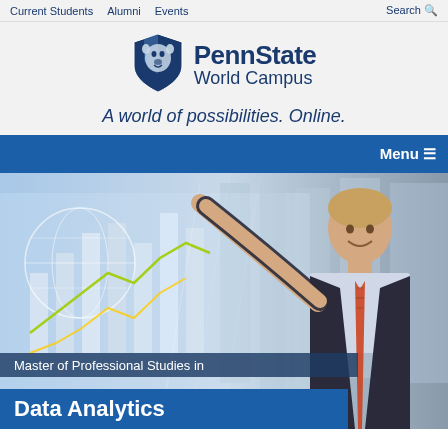Current Students   Alumni   Events   Search
[Figure (logo): Penn State World Campus shield logo with lion head]
PennState World Campus
A world of possibilities. Online.
Menu ≡
[Figure (photo): Man in suit pointing at a digital analytics display screen with charts and globe visualization]
Master of Professional Studies in
Data Analytics